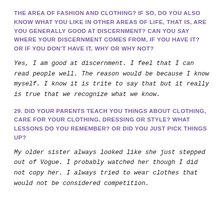THE AREA OF FASHION AND CLOTHING? IF SO, DO YOU ALSO KNOW WHAT YOU LIKE IN OTHER AREAS OF LIFE, THAT IS, ARE YOU GENERALLY GOOD AT DISCERNMENT? CAN YOU SAY WHERE YOUR DISCERNMENT COMES FROM, IF YOU HAVE IT? OR IF YOU DON'T HAVE IT, WHY OR WHY NOT?
Yes, I am good at discernment. I feel that I can read people well. The reason would be because I know myself. I know it is trite to say that but it really is true that we recognize what we know.
29. DID YOUR PARENTS TEACH YOU THINGS ABOUT CLOTHING, CARE FOR YOUR CLOTHING, DRESSING OR STYLE? WHAT LESSONS DO YOU REMEMBER? OR DID YOU JUST PICK THINGS UP?
My older sister always looked like she just stepped out of Vogue. I probably watched her though I did not copy her. I always tried to wear clothes that would not be considered competition.